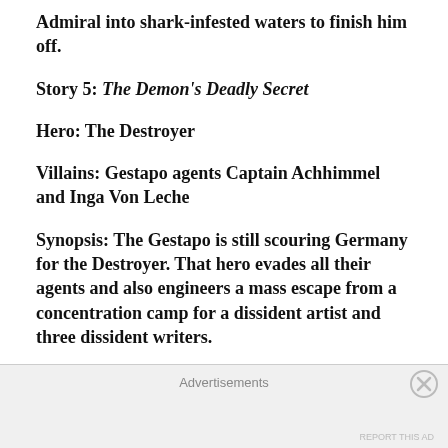Admiral into shark-infested waters to finish him off.
Story 5: The Demon's Deadly Secret
Hero: The Destroyer
Villains: Gestapo agents Captain Achhimmel and Inga Von Leche
Synopsis: The Gestapo is still scouring Germany for the Destroyer. That hero evades all their agents and also engineers a mass escape from a concentration camp for a dissident artist and three dissident writers.
Comment: Inga accidentally shoots the captain to death while trying to kill the
Advertisements